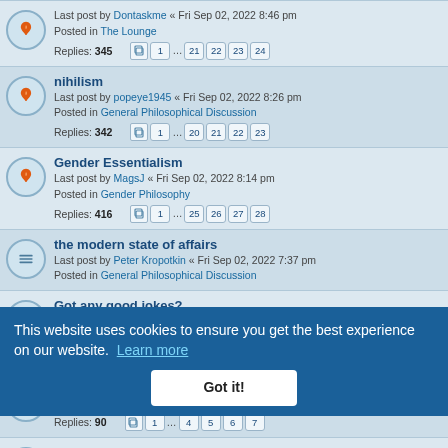Last post by Dontaskme « Fri Sep 02, 2022 8:46 pm | Posted in The Lounge | Replies: 345 | Pages: 1 ... 21 22 23 24
nihilism | Last post by popeye1945 « Fri Sep 02, 2022 8:26 pm | Posted in General Philosophical Discussion | Replies: 342 | Pages: 1 ... 20 21 22 23
Gender Essentialism | Last post by MagsJ « Fri Sep 02, 2022 8:14 pm | Posted in Gender Philosophy | Replies: 416 | Pages: 1 ... 25 26 27 28
the modern state of affairs | Last post by Peter Kropotkin « Fri Sep 02, 2022 7:37 pm | Posted in General Philosophical Discussion
Got any good jokes? | Last post by promethean75 « Fri Sep 02, 2022 6:59 pm | Posted in The Lounge | Replies: 655 | Pages: 1 ... 41 42 43 44
the language of postmodernism | Posted in Philosophy of Language | Replies: 90 | Pages: 1 ... 4 5 6 7
Quote of the day | Last post by ambiguous « Fri Sep 02, 2022 8:54 pm | Posted in The Lounge | Replies: 828 | Pages: 1 ... 53 54 55 56
This website uses cookies to ensure you get the best experience on our website. Learn more | Got it!